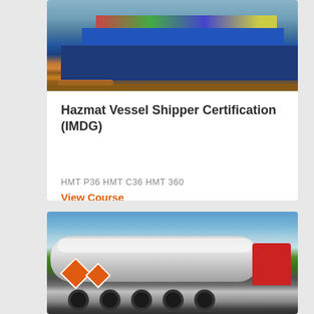[Figure (photo): Blue cargo/container ship on brown water with orange boom visible at bottom]
Hazmat Vessel Shipper Certification (IMDG)
HMT P36 HMT C36 HMT 360
View Course
[Figure (photo): Silver tanker truck with hazmat diamond placards on a highway with blue sky and green fields in background]